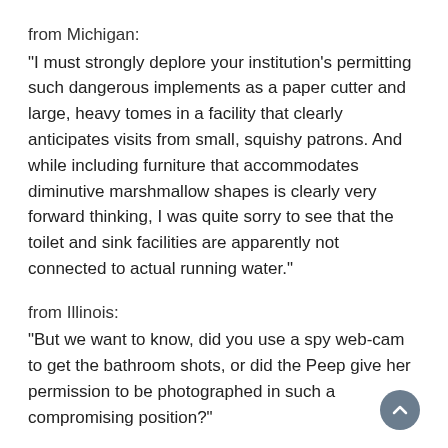from Michigan:
"I must strongly deplore your institution's permitting such dangerous implements as a paper cutter and large, heavy tomes in a facility that clearly anticipates visits from small, squishy patrons. And while including furniture that accommodates diminutive marshmallow shapes is clearly very forward thinking, I was quite sorry to see that the toilet and sink facilities are apparently not connected to actual running water."
from Illinois:
"But we want to know, did you use a spy web-cam to get the bathroom shots, or did the Peep give her permission to be photographed in such a compromising position?"
from California:
"It saddens us, however, that library research for Peeps includes a relatively high mortality rate. Still, with the